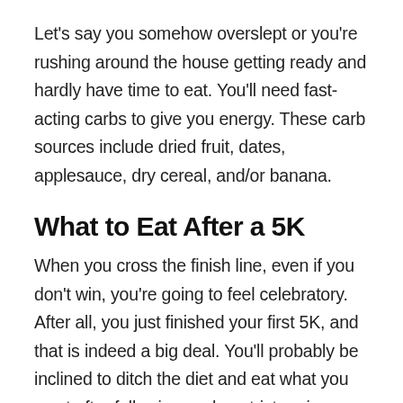Let's say you somehow overslept or you're rushing around the house getting ready and hardly have time to eat. You'll need fast-acting carbs to give you energy. These carb sources include dried fruit, dates, applesauce, dry cereal, and/or banana.
What to Eat After a 5K
When you cross the finish line, even if you don't win, you're going to feel celebratory. After all, you just finished your first 5K, and that is indeed a big deal. You'll probably be inclined to ditch the diet and eat what you want after following such a strict regimen
for weeks now. Hold off a little longer on that.